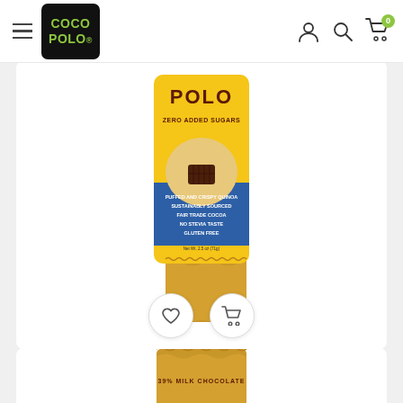Coco Polo — navigation bar with hamburger menu, logo, user icon, search icon, cart icon (0)
[Figure (photo): Coco Polo chocolate bar product image: 39% Cocoa Milk Chocolate with Crispy Puffed Quinoa, No Sugar Added, yellow and blue packaging with gold foil wrapping]
39% Cocoa Milk Chocolate with Crispy Puffed Quinoa – No Sugar Added (8 pack)
$39.60/pack
[Figure (photo): Partial view of a second Coco Polo chocolate bar product with gold foil wrapping at the bottom of the page]